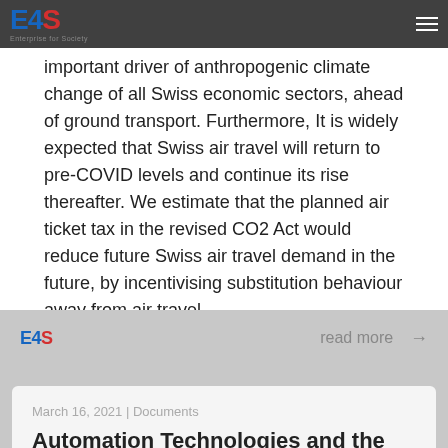E4S Enterprise for Society (logo) | navigation hamburger menu
important driver of anthropogenic climate change of all Swiss economic sectors, ahead of ground transport. Furthermore, It is widely expected that Swiss air travel will return to pre-COVID levels and continue its rise thereafter. We estimate that the planned air ticket tax in the revised CO2 Act would reduce future Swiss air travel demand in the future, by incentivising substitution behaviour away from air travel.
E4S | read more →
March 16, 2021 | Documents
Automation Technologies and the